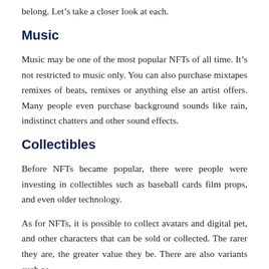belong. Let's take a closer look at each.
Music
Music may be one of the most popular NFTs of all time. It's not restricted to music only. You can also purchase mixtapes remixes of beats, remixes or anything else an artist offers. Many people even purchase background sounds like rain, indistinct chatters and other sound effects.
Collectibles
Before NFTs became popular, there were people were investing in collectibles such as baseball cards film props, and even older technology.
As for NFTs, it is possible to collect avatars and digital pet, and other characters that can be sold or collected. The rarer they are, the greater value they be. There are also variants such as